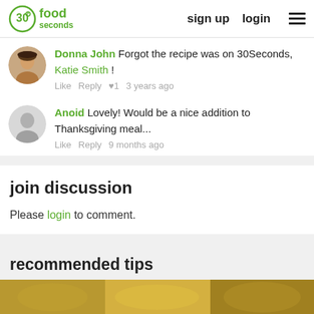30 seconds food | sign up | login
Donna John Forgot the recipe was on 30Seconds, Katie Smith !
Like  Reply  ♥1  3 years ago
Anoid  Lovely! Would be a nice addition to Thanksgiving meal...
Like  Reply  9 months ago
join discussion
Please login to comment.
recommended tips